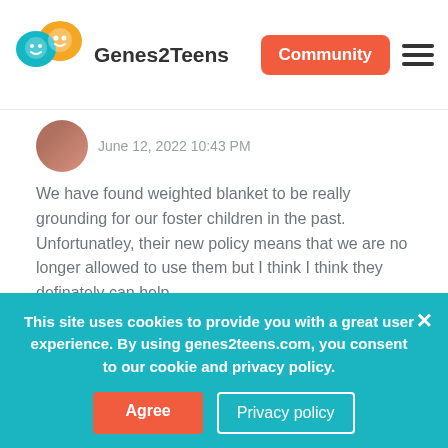[Figure (logo): Genes2Teens logo with colorful speech bubble characters and bold text]
Community
June 12, 2022 10:43 PM
We have found weighted blanket to be really grounding for our foster children in the past. Unfortunatley, their new policy means that we are no longer allowed to use them but I think I think they definately can help.
Should i send my child to a
This site uses cookies to provide you with a great user experience. By using genes2teens.com, you consent to our cookie and privacy policy.